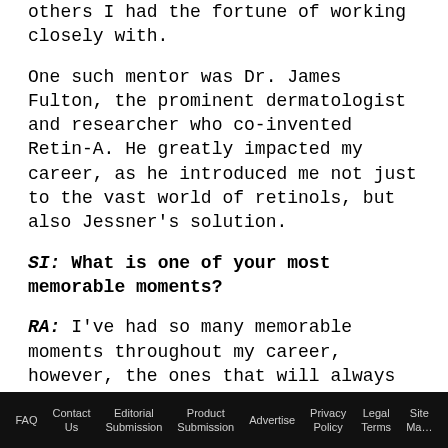others I had the fortune of working closely with.
One such mentor was Dr. James Fulton, the prominent dermatologist and researcher who co-invented Retin-A. He greatly impacted my career, as he introduced me not just to the vast world of retinols, but also Jessner’s solution.
SI: What is one of your most memorable moments?
RA: I’ve had so many memorable moments throughout my career, however, the ones that will always stay with me are when I’ve been able to watch other professionals and even our team
FAQ   Contact Us   Editorial Submission   Product Submission   Advertise   Privacy Policy   Legal Terms   Site Map